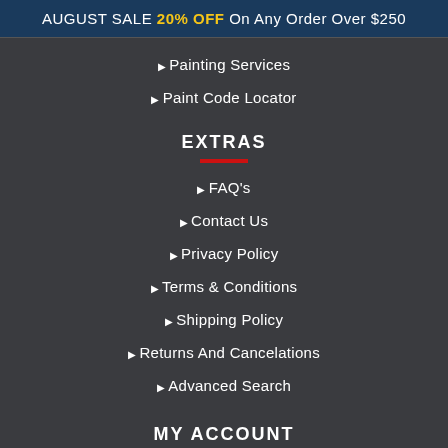AUGUST SALE 20% OFF On Any Order Over $250
Painting Services
Paint Code Locator
EXTRAS
FAQ's
Contact Us
Privacy Policy
Terms & Conditions
Shipping Policy
Returns And Cancelations
Advanced Search
MY ACCOUNT